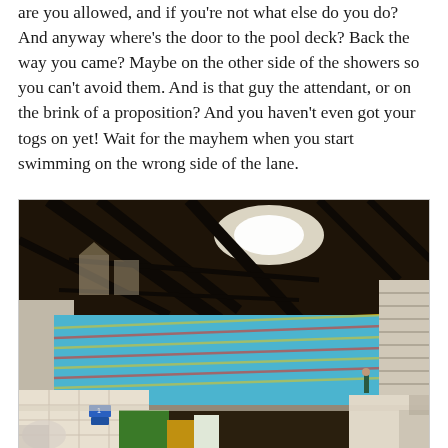are you allowed, and if you're not what else do you do? And anyway where's the door to the pool deck? Back the way you came? Maybe on the other side of the showers so you can't avoid them. And is that guy the attendant, or on the brink of a proposition? And you haven't even got your togs on yet! Wait for the mayhem when you start swimming on the wrong side of the lane.
[Figure (photo): Interior of a large indoor swimming pool facility with a dark timber roof structure. The Olympic-size pool is visible with blue water and lane ropes. Starting blocks are in the foreground, bleachers on the right side, and a person walking on the pool deck. Natural light comes through the roof.]